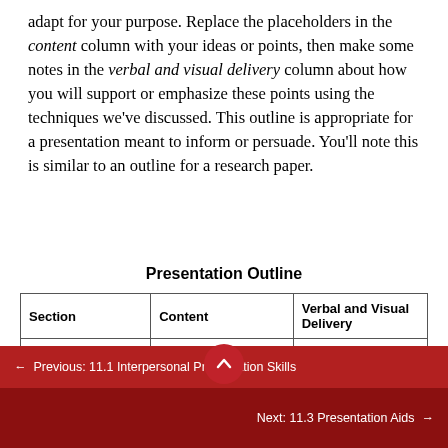adapt for your purpose. Replace the placeholders in the content column with your ideas or points, then make some notes in the verbal and visual delivery column about how you will support or emphasize these points using the techniques we've discussed. This outline is appropriate for a presentation meant to inform or persuade. You'll note this is similar to an outline for a research paper.
Presentation Outline
| Section | Content | Verbal and Visual Delivery |
| --- | --- | --- |
|  |  |  |
← Previous: 11.1 Interpersonal Presentation Skills
Next: 11.3 Presentation Aids →